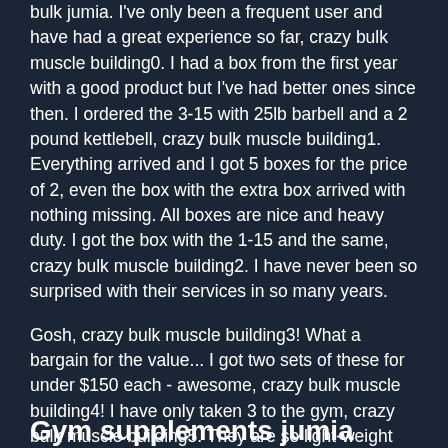bulk jumia. I've only been a frequent user and have had a great experience so far, crazy bulk muscle building0. I had a box from the first year with a good product but I've had better ones since then. I ordered the 3-15 with 25lb barbell and a 2 pound kettlebell, crazy bulk muscle building1. Everything arrived and I got 5 boxes for the price of 2, even the box with the extra box arrived with nothing missing. All boxes are nice and heavy duty. I got the box with the 1-15 and the same, crazy bulk muscle building2. I have never been so surprised with their services in so many years.
Gosh, crazy bulk muscle building3! What a bargain for the value... I got two sets of these for under $150 each - awesome, crazy bulk muscle building4! I have only taken 3 to the gym, crazy bulk muscle building5. They are so light-weight that it feels like I only took 3.
Gym supplements jumia